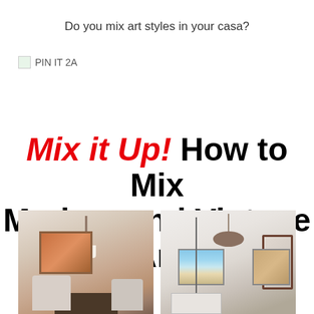Do you mix art styles in your casa?
[Figure (other): PIN IT 2A button/icon with small green image placeholder]
Mix it Up! How to Mix Modern and Vintage Art
[Figure (photo): Two interior room photos side by side: left shows a dining room with chandelier, abstract orange artwork, and chairs; right shows a bathroom with chandelier, beach artwork, and mirror]